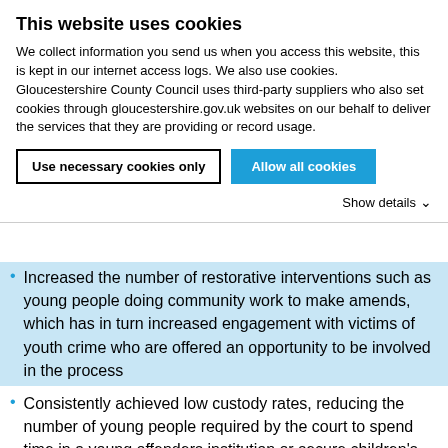This website uses cookies
We collect information you send us when you access this website, this is kept in our internet access logs. We also use cookies. Gloucestershire County Council uses third-party suppliers who also set cookies through gloucestershire.gov.uk websites on our behalf to deliver the services that they are providing or record usage.
Use necessary cookies only | Allow all cookies
Show details
Increased the number of restorative interventions such as young people doing community work to make amends, which has in turn increased engagement with victims of youth crime who are offered an opportunity to be involved in the process
Consistently achieved low custody rates, reducing the number of young people required by the court to spend time in a young offenders institution or secure children's home
Reduced the numbers of children re-offending.